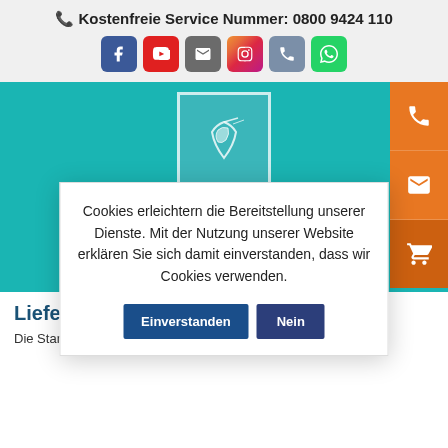📞 Kostenfreie Service Nummer: 0800 9424 110
[Figure (screenshot): Social media icons row: Facebook (blue), YouTube (red), Email/envelope (gray), Instagram (gradient), Phone (blue-gray), WhatsApp (green)]
[Figure (logo): Dr. Kai Kreling Pferdepraxis logo on teal background with white framed square logo mark and handwritten-style signature text]
Cookies erleichtern die Bereitstellung unserer Dienste. Mit der Nutzung unserer Website erklären Sie sich damit einverstanden, dass wir Cookies verwenden.
Lieferinfo…
Die Standard-Lieferzeit beträgt 3-5 Tage für